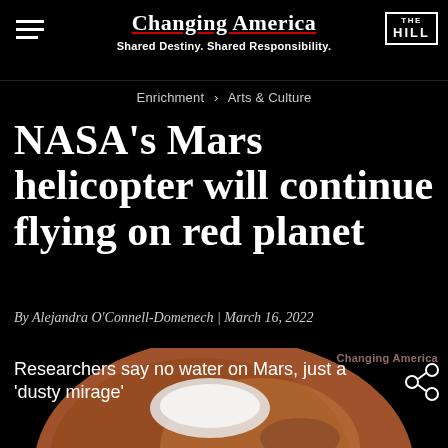Changing America — Shared Destiny. Shared Responsibility. | THE HILL
Enrichment > Arts & Culture
NASA's Mars helicopter will continue flying on red planet
By Alejandra O'Connell-Domenech | March 16, 2022
[Figure (photo): Photograph of Mars planet surface with polar ice cap visible, brownish-red terrain, dark space background. Overlaid teaser text: 'Researchers say no water on Mars, just a dusty mirage' with share icon. Watermark: 'Changing America']